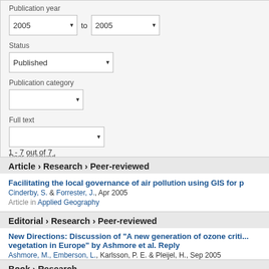Publication year
2005 to 2005
Status
Published
Publication category
Full text
Peer-reviewed
1 - 7 out of 7
Article › Research › Peer-reviewed
Facilitating the local governance of air pollution using GIS for p
Cinderby, S. & Forrester, J., Apr 2005
Article in Applied Geography
Editorial › Research › Peer-reviewed
New Directions: Discussion of "A new generation of ozone criti... vegetation in Europe" by Ashmore et al. Reply
Ashmore, M., Emberson, L., Karlsson, P. E. & Pleijel, H., Sep 2005
Editorial in Atmospheric Environment
Book › Research